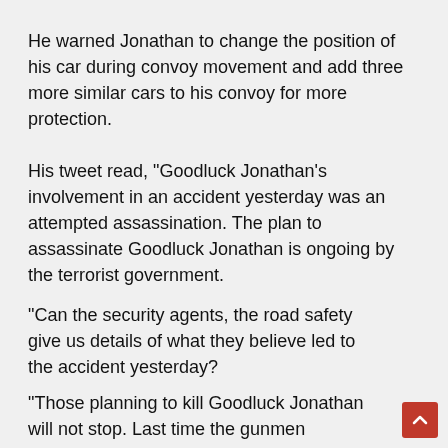He warned Jonathan to change the position of his car during convoy movement and add three more similar cars to his convoy for more protection.
His tweet read, "Goodluck Jonathan's involvement in an accident yesterday was an attempted assassination. The plan to assassinate Goodluck Jonathan is ongoing by the terrorist government.
"Can the security agents, the road safety give us details of what they believe led to the accident yesterday?
"Those planning to kill Goodluck Jonathan will not stop. Last time the gunmen invaded his house. President Jonathan must change